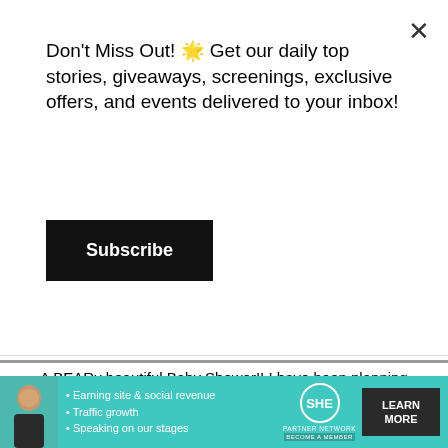Don't Miss Out! 🌟 Get our daily top stories, giveaways, screenings, exclusive offers, and events delivered to your inbox!
Subscribe
A BEARy beautiful Baby Shower!! I have been planning Malika's baby shower in my head for quite some time.
Malika was very specific with not wanting color. So this was the only color we were able to get away with LOL It turned out beautifully!
I could not thank @mindyweiss @andrew_mindyweiss @jeffleatham enough!! I know I'm a lot at times because I'm so specific and I love to micro manage 🙂 but you guys always go over the top. You surpass any dream that I have ever conjured up in my head as to how I want something to look. Every time I am WOWED by your work and perfection! Thank you guys for being the best! You literally are my dream team!
I would like to give a huge thank you to the @waldorfbevhills for
[Figure (infographic): SHE Partner Network advertisement banner with teal background, woman photo, bullet points about earning site & social revenue, traffic growth, speaking on our stages, SHE logo, and LEARN MORE button]